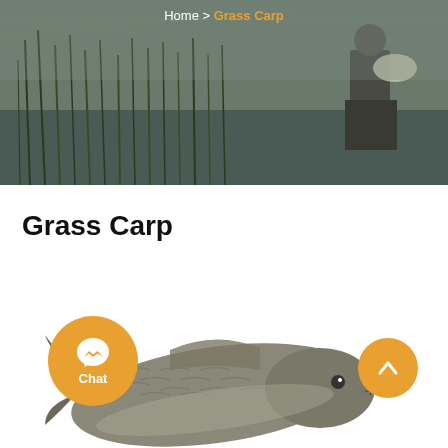[Figure (photo): Header image showing a person standing in water among reeds/marsh grass, with fishing gear visible. Dark, overcast outdoor scene.]
Home > Grass Carp
Grass Carp
[Figure (photo): Photo of a grass carp fish, showing detailed scales on its body, viewed from the side at an angle.]
[Figure (other): Orange circular chat button with Facebook Messenger icon and 'Chat' label below.]
[Figure (other): Orange circular scroll-to-top button with upward chevron arrow icon.]